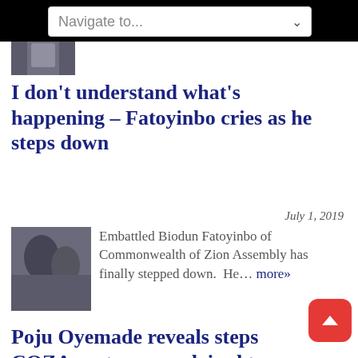Navigate to...
[Figure (photo): Partial thumbnail of a person at top of page]
I don't understand what's happening – Fatoyinbo cries as he steps down
July 1, 2019
[Figure (photo): Photo of Biodun Fatoyinbo and a woman]
Embattled Biodun Fatoyinbo of Commonwealth of Zion Assembly has finally stepped down.  He... more»
Poju Oyemade reveals steps COZA pastor was advised to take
July 1, 2019